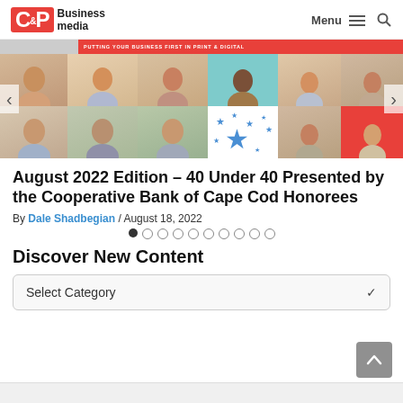C&P Business media — Menu / Search
[Figure (photo): Carousel image showing a grid of headshots of honorees for the 40 Under 40 award, with navigation arrows on left and right, and a coral/red banner at top with text 'PUTTING YOUR BUSINESS FIRST IN PRINT & DIGITAL']
August 2022 Edition – 40 Under 40 Presented by the Cooperative Bank of Cape Cod Honorees
By Dale Shadbegian / August 18, 2022
Discover New Content
Select Category